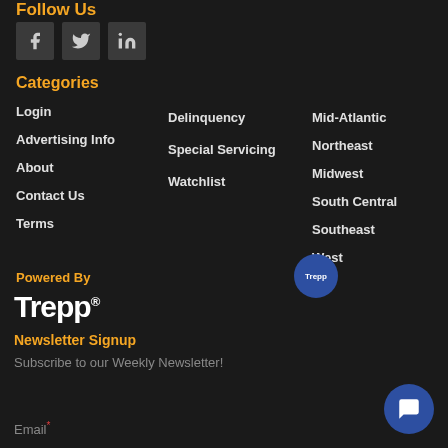Follow Us
[Figure (illustration): Three social media icon buttons: Facebook (f), Twitter (bird), LinkedIn (in)]
Categories
Login
Advertising Info
About
Contact Us
Terms
Delinquency
Special Servicing
Watchlist
Mid-Atlantic
Northeast
Midwest
South Central
Southeast
West
Powered By
Trepp®
Newsletter Signup
Subscribe to our Weekly Newsletter!
Email*
[Figure (screenshot): Chat widget popup: Trepp badge icon at top, close X button, text 'Need help? I am happy to assist.']
[Figure (illustration): Blue circular chat button at bottom right]